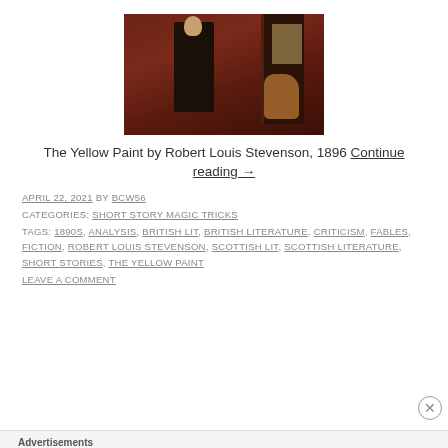[Figure (photo): Portrait painting of a man in dark clothing standing in a room with red walls, likely Robert Louis Stevenson]
The Yellow Paint by Robert Louis Stevenson, 1896 Continue reading →
APRIL 22, 2021 BY BCW56
CATEGORIES: SHORT STORY MAGIC TRICKS
TAGS: 1890S, ANALYSIS, BRITISH LIT, BRITISH LITERATURE, CRITICISM, FABLES, FICTION, ROBERT LOUIS STEVENSON, SCOTTISH LIT, SCOTTISH LITERATURE, SHORT STORIES, THE YELLOW PAINT
LEAVE A COMMENT
Advertisements